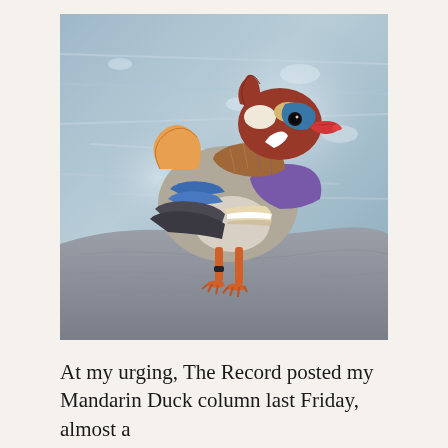[Figure (photo): A colorful Mandarin Duck standing on a rock near water. The duck displays vivid plumage with orange, blue, purple, teal, and white feathers. It has orange feet with a black band/ring on one leg. The water behind it is blurred with light reflections.]
At my urging, The Record posted my Mandarin Duck column last Friday, almost a